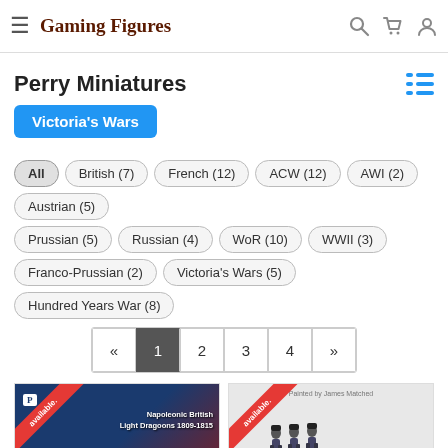Gaming Figures
Perry Miniatures
Victoria's Wars
All
British (7)
French (12)
ACW (12)
AWI (2)
Austrian (5)
Prussian (5)
Russian (4)
WoR (10)
WWII (3)
Franco-Prussian (2)
Victoria's Wars (5)
Hundred Years War (8)
[Figure (screenshot): Pagination: « 1 2 3 4 »]
[Figure (photo): Product card: Napoleonic British Light Dragoons 1809-1815 with illustrated cavalry box art and red 'available' corner ribbon]
[Figure (photo): Product card: artillery crew miniatures on grey background with red 'available' corner ribbon]